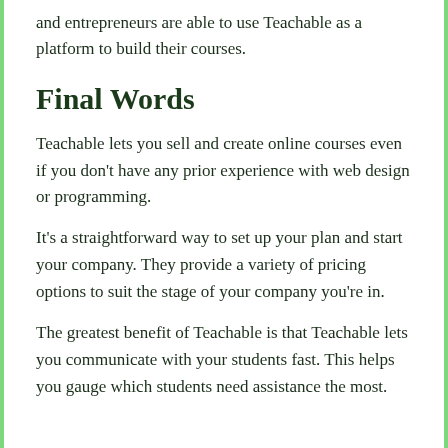and entrepreneurs are able to use Teachable as a platform to build their courses.
Final Words
Teachable lets you sell and create online courses even if you don't have any prior experience with web design or programming.
It's a straightforward way to set up your plan and start your company. They provide a variety of pricing options to suit the stage of your company you're in.
The greatest benefit of Teachable is that Teachable lets you communicate with your students fast. This helps you gauge which students need assistance the most.